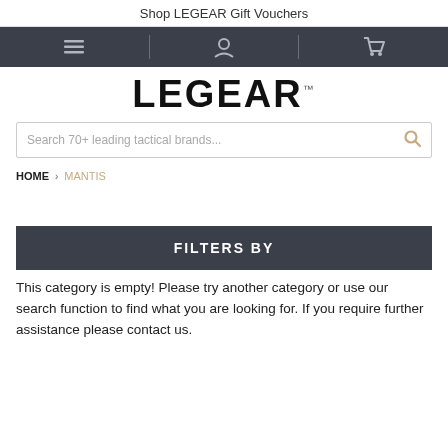Shop LEGEAR Gift Vouchers
[Figure (screenshot): Navigation bar with hamburger menu, user account icon, and shopping cart icon on dark background]
[Figure (logo): LEGEAR logo in bold black text with TM superscript]
Search 70+ leading tactical brands...
HOME > MANTIS
FILTERS BY
This category is empty! Please try another category or use our search function to find what you are looking for. If you require further assistance please contact us.